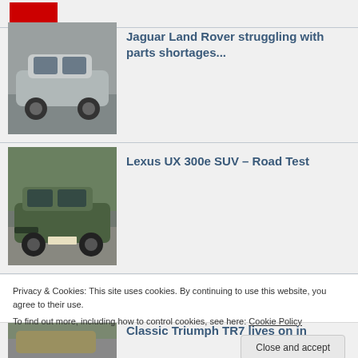[Figure (photo): Partial top of page showing a red product image thumbnail]
[Figure (photo): Jaguar I-PACE electric car in silver, parked against a grey wall]
Jaguar Land Rover struggling with parts shortages...
[Figure (photo): Lexus UX 300e green SUV driving on a road]
Lexus UX 300e SUV – Road Test
Privacy & Cookies: This site uses cookies. By continuing to use this website, you agree to their use.
To find out more, including how to control cookies, see here: Cookie Policy
Close and accept
[Figure (photo): Classic Triumph TR7 car, partial view]
Classic Triumph TR7 lives on in